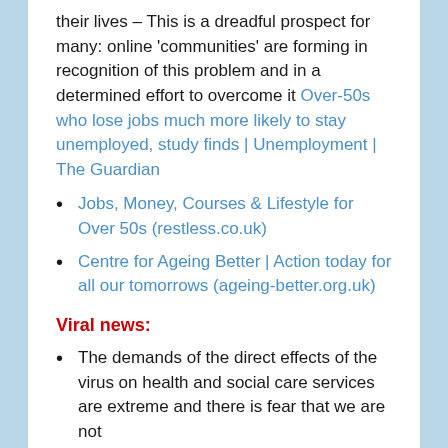their lives – This is a dreadful prospect for many: online 'communities' are forming in recognition of this problem and in a determined effort to overcome it Over-50s who lose jobs much more likely to stay unemployed, study finds | Unemployment | The Guardian
Jobs, Money, Courses & Lifestyle for Over 50s (restless.co.uk)
Centre for Ageing Better | Action today for all our tomorrows (ageing-better.org.uk)
Viral news:
The demands of the direct effects of the virus on health and social care services are extreme and there is fear that we are not